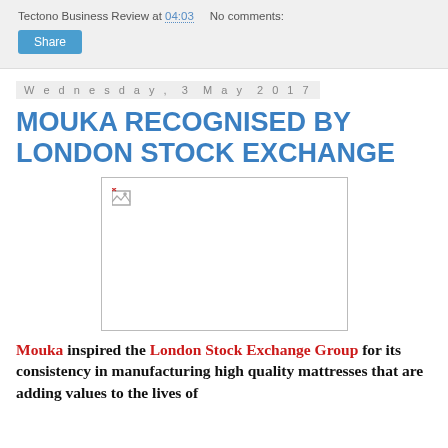Tectono Business Review at 04:03   No comments:
Share
Wednesday, 3 May 2017
MOUKA RECOGNISED BY LONDON STOCK EXCHANGE
[Figure (photo): Broken image placeholder for article photo]
Mouka inspired the London Stock Exchange Group for its consistency in manufacturing high quality mattresses that are adding values to the lives of